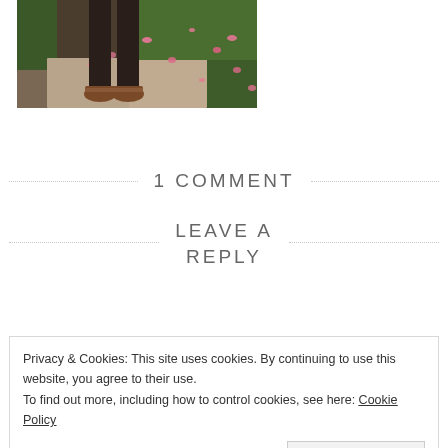[Figure (photo): Bottom half of a person standing on a path wearing brown leather shoes, surrounded by grass and scattered pink flower petals]
1 COMMENT
LEAVE A REPLY
Privacy & Cookies: This site uses cookies. By continuing to use this website, you agree to their use.
To find out more, including how to control cookies, see here: Cookie Policy
Close and accept